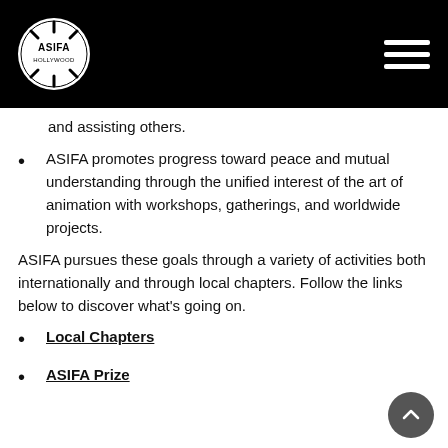ASIFA Hollywood
and assisting others.
ASIFA promotes progress toward peace and mutual understanding through the unified interest of the art of animation with workshops, gatherings, and worldwide projects.
ASIFA pursues these goals through a variety of activities both internationally and through local chapters. Follow the links below to discover what's going on.
Local Chapters
ASIFA Prize